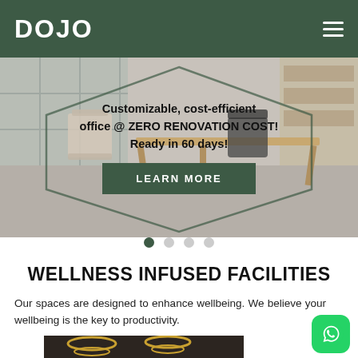DOJO
[Figure (photo): Hero banner showing a modern office interior with wooden desk and chairs, overlaid with text and a hexagon border shape. Text reads: Customizable, cost-efficient office @ ZERO RENOVATION COST! Ready in 60 days! With a LEARN MORE button.]
WELLNESS INFUSED FACILITIES
Our spaces are designed to enhance wellbeing. We believe your wellbeing is the key to productivity.
[Figure (photo): Bottom portion of an interior image showing pendant lights with circular/ring design over what appears to be a reception or lounge area.]